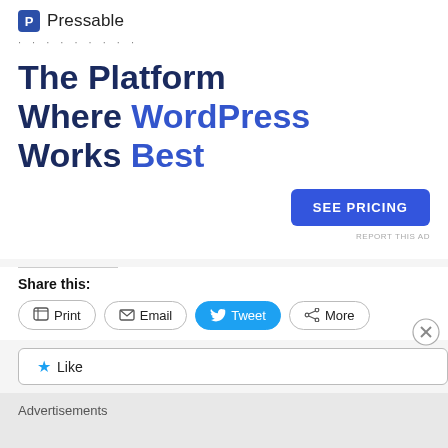[Figure (logo): Pressable logo with blue square icon containing letter P and text 'Pressable']
.........
The Platform Where WordPress Works Best
[Figure (other): Blue 'SEE PRICING' button]
REPORT THIS AD
Share this:
Print   Email   Tweet   More
Like
Advertisements
REPORT THIS AD